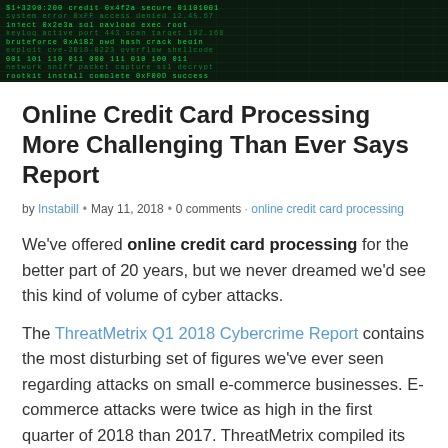[Figure (photo): Dark hacker/cybersecurity themed image showing green matrix-style code text on black background]
Online Credit Card Processing More Challenging Than Ever Says Report
by Instabill • May 11, 2018 • 0 comments • online credit card processing
We've offered online credit card processing for the better part of 20 years, but we never dreamed we'd see this kind of volume of cyber attacks.
The ThreatMetrix Q1 2018 Cybercrime Report contains the most disturbing set of figures we've ever seen regarding attacks on small e-commerce businesses. E-commerce attacks were twice as high in the first quarter of 2018 than 2017. ThreatMetrix compiled its report based on the 201 million attacks it